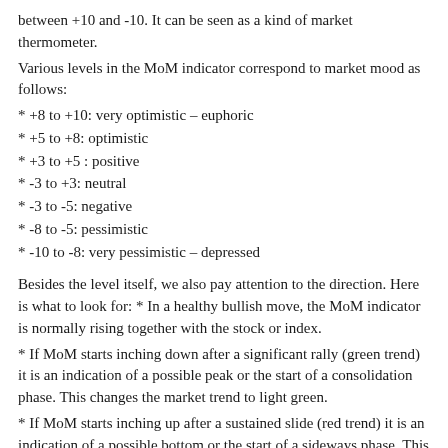between +10 and -10. It can be seen as a kind of market thermometer.
Various levels in the MoM indicator correspond to market mood as follows:
* +8 to +10: very optimistic – euphoric
* +5 to +8: optimistic
* +3 to +5 : positive
* -3 to +3: neutral
* -3 to -5: negative
* -8 to -5: pessimistic
* -10 to -8: very pessimistic – depressed
Besides the level itself, we also pay attention to the direction. Here is what to look for: * In a healthy bullish move, the MoM indicator is normally rising together with the stock or index.
* If MoM starts inching down after a significant rally (green trend) it is an indication of a possible peak or the start of a consolidation phase. This changes the market trend to light green.
* If MoM starts inching up after a sustained slide (red trend) it is an indication of a possible bottom or the start of a sideways phase. This changes the market trend to pink.
* For a rising stock or index, MoM is typically hovering between